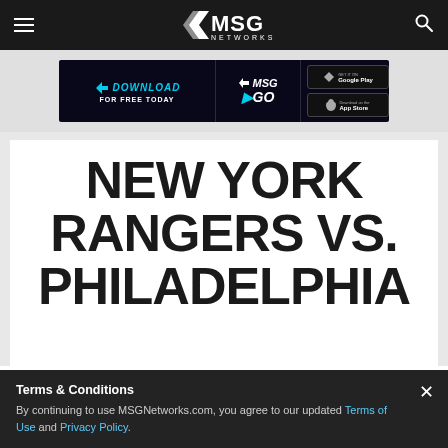MSG Networks
[Figure (screenshot): MSG GO download banner ad with Google Play and App Store buttons]
NEW YORK RANGERS VS. PHILADELPHIA
Terms & Conditions
By continuing to use MSGNetworks.com, you agree to our updated Terms of Use and Privacy Policy.